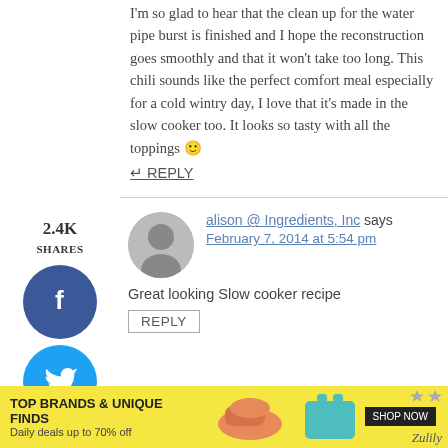I'm so glad to hear that the clean up for the water pipe burst is finished and I hope the reconstruction goes smoothly and that it won't take too long. This chili sounds like the perfect comfort meal especially for a cold wintry day, I love that it's made in the slow cooker too. It looks so tasty with all the toppings 🙂
REPLY
alison @ Ingredients, Inc says
February 7, 2014 at 5:54 pm
Great looking Slow cooker recipe
REPLY
[Figure (infographic): Advertisement banner: TOP BRANDS & UNIQUE FINDS, Daily deals up to 70% off, SHOP NOW button, Zulily branding with product images]